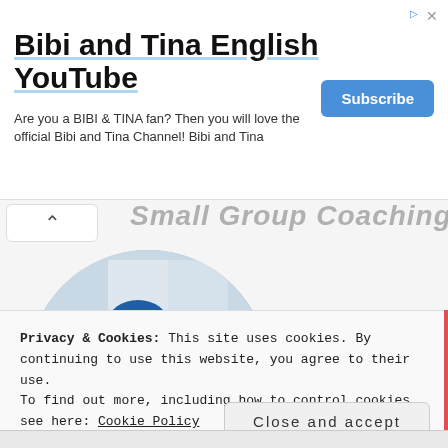Bibi and Tina English YouTube
Are you a BIBI & TINA fan? Then you will love the official Bibi and Tina Channel! Bibi and Tina
Small Group Coaching
[Figure (photo): Group of women sitting together in a circle, one wearing a blue hijab, engaged in discussion or activity. Circular cropped image.]
Transform your Montessori parenting & home educating in a small group community led by a certified Montessorian.
[Figure (photo): Small circular portrait of a smiling woman with light brown hair.]
Privacy & Cookies: This site uses cookies. By continuing to use this website, you agree to their use.
To find out more, including how to control cookies, see here: Cookie Policy